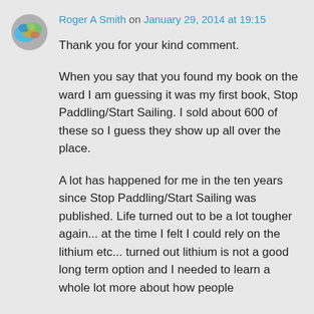[Figure (illustration): Circular avatar image with colorful abstract design in blue, green, and orange tones]
Roger A Smith on January 29, 2014 at 19:15
Thank you for your kind comment.
When you say that you found my book on the ward I am guessing it was my first book, Stop Paddling/Start Sailing. I sold about 600 of these so I guess they show up all over the place.
A lot has happened for me in the ten years since Stop Paddling/Start Sailing was published. Life turned out to be a lot tougher again... at the time I felt I could rely on the lithium etc... turned out lithium is not a good long term option and I needed to learn a whole lot more about how people